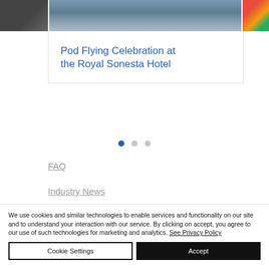[Figure (photo): Three photos in a horizontal strip at the top: left shows a person in dark clothing, center shows a building exterior with scaffolding/metalwork in blue/grey tones, right shows a colorful image partially visible.]
Pod Flying Celebration at the Royal Sonesta Hotel
Navigation dots (carousel indicator): 3 dots, first active
FAQ
Industry News
We use cookies and similar technologies to enable services and functionality on our site and to understand your interaction with our service. By clicking on accept, you agree to our use of such technologies for marketing and analytics. See Privacy Policy
Cookie Settings | Accept